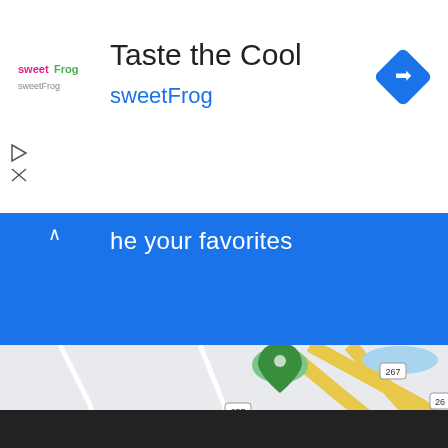[Figure (logo): sweetFrog logo with green and pink text]
Taste the Cool
sweetFrog
[Figure (infographic): Blue diamond navigation/directions icon]
he your favorites
[Figure (map): Google Maps view showing McNair area with streets: Coppermine Rd, Sunrise Valley Dr, route 657, 267, 665. Red location pin marker in center.]
Store info
Directions